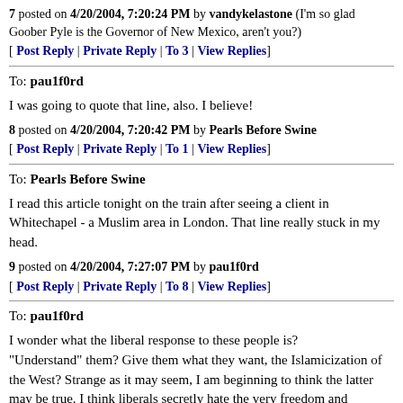7 posted on 4/20/2004, 7:20:24 PM by vandykelastone (I'm so glad Goober Pyle is the Governor of New Mexico, aren't you?)
[ Post Reply | Private Reply | To 3 | View Replies]
To: pau1f0rd
I was going to quote that line, also. I believe!
8 posted on 4/20/2004, 7:20:42 PM by Pearls Before Swine
[ Post Reply | Private Reply | To 1 | View Replies]
To: Pearls Before Swine
I read this article tonight on the train after seeing a client in Whitechapel - a Muslim area in London. That line really stuck in my head.
9 posted on 4/20/2004, 7:27:07 PM by pau1f0rd
[ Post Reply | Private Reply | To 8 | View Replies]
To: pau1f0rd
I wonder what the liberal response to these people is? "Understand" them? Give them what they want, the Islamicization of the West? Strange as it may seem, I am beginning to think the latter may be true. I think liberals secretly hate the very freedom and secularism they have helped create; irreligious and guilt-